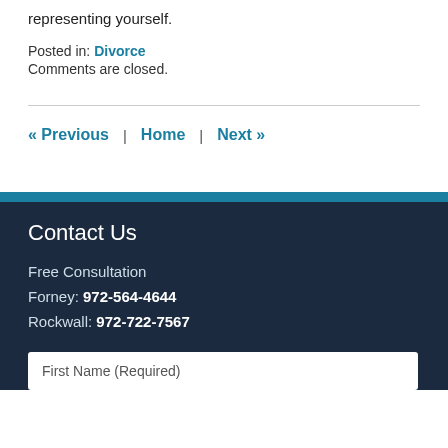representing yourself.
Posted in: Divorce
Comments are closed.
« Previous   |   Home   |   Next »
Contact Us
Free Consultation
Forney: 972-564-4644
Rockwall: 972-722-7567
First Name (Required)